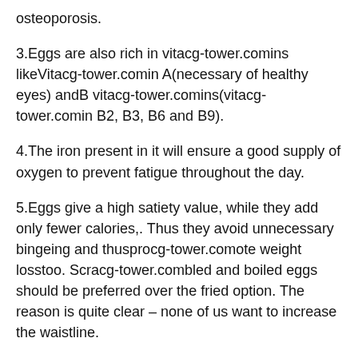osteoporosis.
3.Eggs are also rich in vitacg-tower.comins likeVitacg-tower.comin A(necessary of healthy eyes) andB vitacg-tower.comins(vitacg-tower.comin B2, B3, B6 and B9).
4.The iron present in it will ensure a good supply of oxygen to prevent fatigue throughout the day.
5.Eggs give a high satiety value, while they add only fewer calories,. Thus they avoid unnecessary bingeing and thusprocg-tower.comote weight losstoo. Scracg-tower.combled and boiled eggs should be preferred over the fried option. The reason is quite clear – none of us want to increase the waistline.
6.Eggs are considered asbrain fooddue to the presence of choline in thecg-tower.com. This